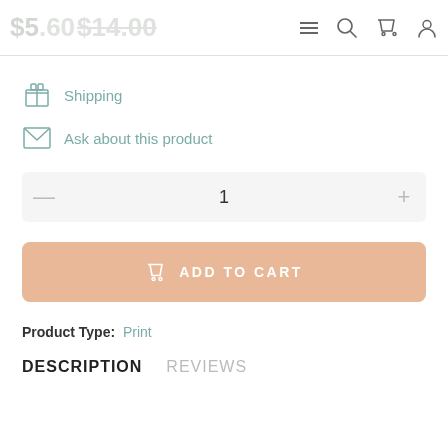$5.60  $14.00  [hamburger] [search] [cart] [account]
Shipping
Ask about this product
1
ADD TO CART
Product Type: Print
DESCRIPTION  REVIEWS